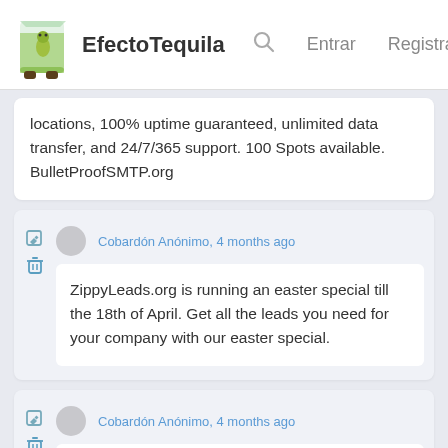EfectoTequila  Q  Entrar  Registrarse
locations, 100% uptime guaranteed, unlimited data transfer, and 24/7/365 support. 100 Spots available. BulletProofSMTP.org
Cobardón Anónimo, 4 months ago
ZippyLeads.org is running an easter special till the 18th of April. Get all the leads you need for your company with our easter special.
Cobardón Anónimo, 4 months ago
Hello, It is with sad regret to inform you